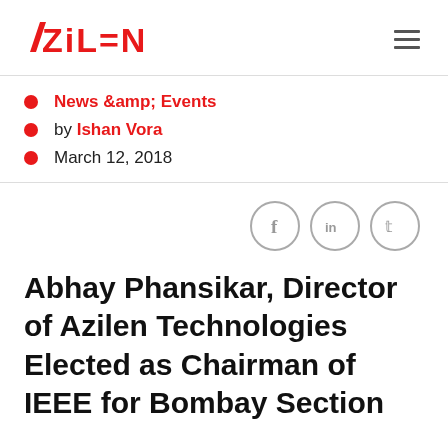AZILEN
News &amp; Events
by Ishan Vora
March 12, 2018
Abhay Phansikar, Director of Azilen Technologies Elected as Chairman of IEEE for Bombay Section